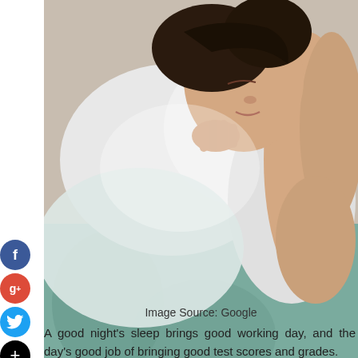[Figure (photo): A woman sleeping peacefully in bed, resting her head on a white pillow with a teal/green patterned blanket visible. The image is taken from a close angle showing her face and upper body.]
Image Source: Google
A good night's sleep brings good working day, and the day's good job of bringing good test scores and grades.